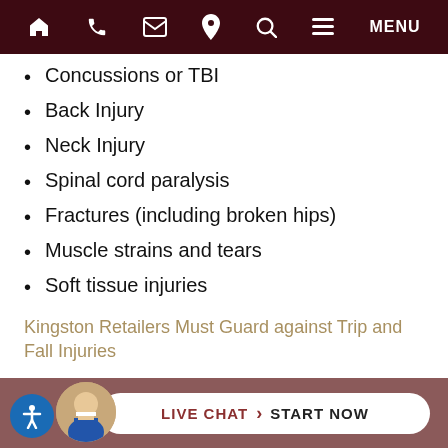Navigation bar with home, phone, mail, location, search, and menu icons
Concussions or TBI
Back Injury
Neck Injury
Spinal cord paralysis
Fractures (including broken hips)
Muscle strains and tears
Soft tissue injuries
Kingston Retailers Must Guard against Trip and Fall Injuries
Premises liability includes more than just mopping up spills. Store owners should guard against other hazards that can lead to a trip and fall or other serious injury. S...ould